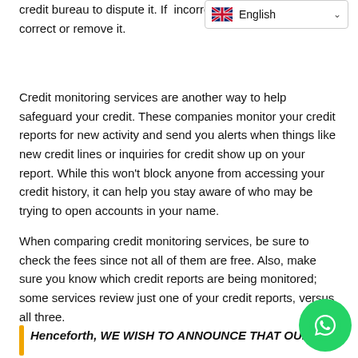credit bureau to dispute it. If incorrect, the credit bureau is required to correct or remove it.
Credit monitoring services are another way to help safeguard your credit. These companies monitor your credit reports for new activity and send you alerts when things like new credit lines or inquiries for credit show up on your report. While this won't block anyone from accessing your credit history, it can help you stay aware of who may be trying to open accounts in your name.
When comparing credit monitoring services, be sure to check the fees since not all of them are free. Also, make sure you know which credit reports are being monitored; some services review just one of your credit reports, versus all three.
Henceforth, WE WISH TO ANNOUNCE THAT OUR